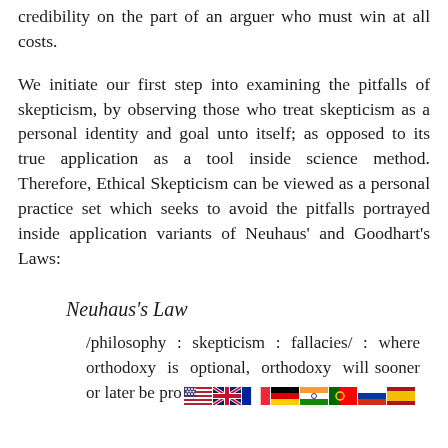credibility on the part of an arguer who must win at all costs.
We initiate our first step into examining the pitfalls of skepticism, by observing those who treat skepticism as a personal identity and goal unto itself; as opposed to its true application as a tool inside science method. Therefore, Ethical Skepticism can be viewed as a personal practice set which seeks to avoid the pitfalls portrayed inside application variants of Neuhaus' and Goodhart's Laws:
Neuhaus's Law
/philosophy : skepticism : fallacies/ : where orthodoxy is optional, orthodoxy will sooner or later be pro…